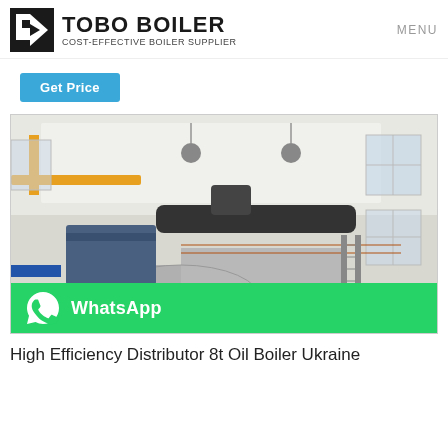[Figure (logo): TOBO BOILER logo with stylized K/T icon and tagline COST-EFFECTIVE BOILER SUPPLIER]
MENU
Get Price
[Figure (photo): Industrial boiler room with large horizontal cylindrical boiler tanks, yellow overhead crane, blue boiler burner unit, white walls with windows, copper piping visible]
WhatsApp
High Efficiency Distributor 8t Oil Boiler Ukraine